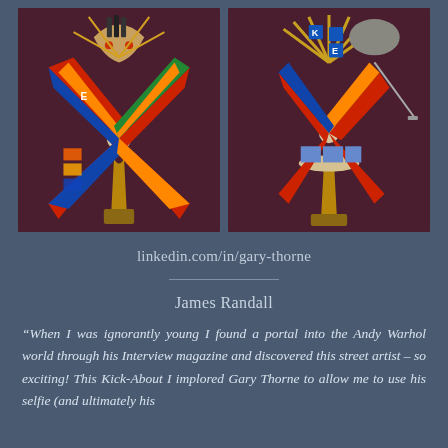[Figure (photo): Two photographs side by side showing colorful mixed-media sculptural artworks resembling windmills or kachina dolls made from postage stamps, cardboard, and other found materials, set against a dark maroon/burgundy background.]
linkedin.com/in/gary-thorne
James Randall
“When I was ignorantly young I found a portal into the Andy Warhol world through his Interview magazine and discovered this street artist – so exciting! This Kick-About I implored Gary Thorne to allow me to use his selfie (and ultimately his